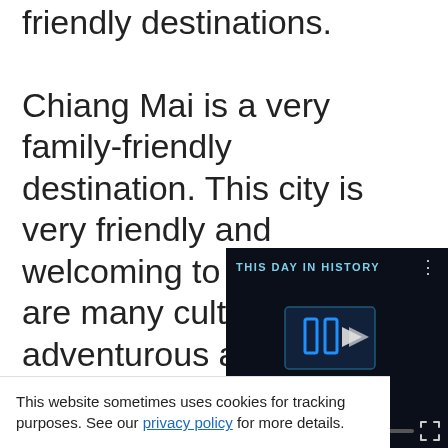friendly destinations.

Chiang Mai is a very family-friendly destination. This city is very friendly and welcoming to kids. There are many cultural and adventurous activities that the whole family can enjoy. One of the most popular kid-friendly places to visit is the Elephant Sanctuary, where kids can get up close and personal with these beautiful animals. Kids will also enjoy heading into the countryside to trek or visit one of Thailand's Hilltribes. The cultural expe[rience to] meet a diversity o[f...]
[Figure (screenshot): Embedded video player overlay with dark background showing 'THIS DAY IN HISTORY' branding with blue logo, play button, AUGUST label, muted audio icon, progress bar with blue dot, and fullscreen icon.]
This website sometimes uses cookies for tracking purposes. See our privacy policy for more details.